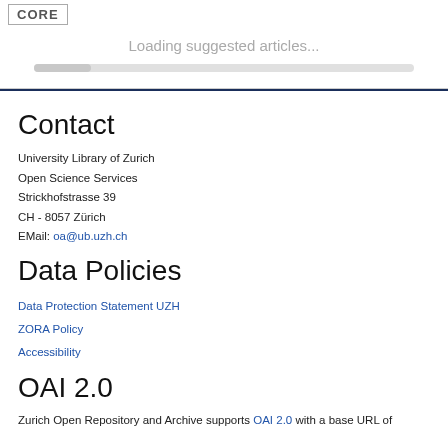[Figure (logo): CORE logo box in top left corner]
Loading suggested articles...
Contact
University Library of Zurich
Open Science Services
Strickhofstrasse 39
CH - 8057 Zürich
EMail: oa@ub.uzh.ch
Data Policies
Data Protection Statement UZH
ZORA Policy
Accessibility
OAI 2.0
Zurich Open Repository and Archive supports OAI 2.0 with a base URL of